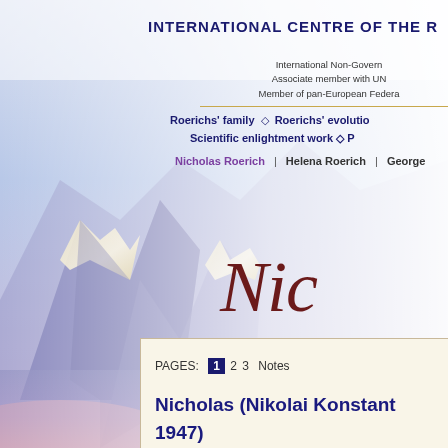[Figure (illustration): Watercolor painting of mountain peaks in blue and lavender tones with golden highlights, occupying the left portion of the page as a background image.]
INTERNATIONAL CENTRE OF THE R
International Non-Govern
Associate member with UN
Member of pan-European Federa
Roerichs' family ◇ Roerichs' evolutio
Scientific enlightment work ◇ P
Nicholas Roerich | Helena Roerich | George
Nic
PAGES: 1 2 3 Notes
Nicholas (Nikolai Konstant
1947)